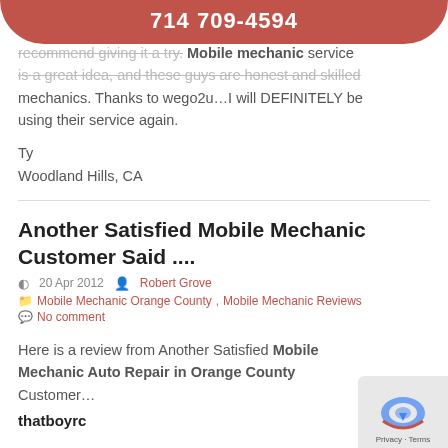714 709-4594
recommend giving it a try. Mobile mechanic service is a great idea, and these guys are honest and skilled mechanics. Thanks to wego2u...I will DEFINITELY be using their service again.
Ty
Woodland Hills, CA
Another Satisfied Mobile Mechanic Customer Said ....
20 Apr 2012   Robert Grove
Mobile Mechanic Orange County, Mobile Mechanic Reviews
No comment
Here is a review from Another Satisfied Mobile Mechanic Auto Repair in Orange County Customer...
thatboyrc